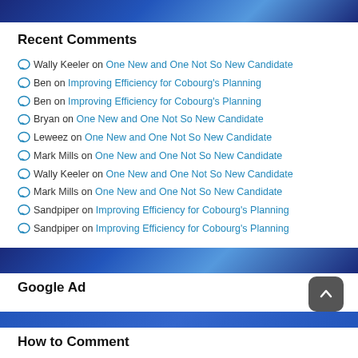Recent Comments
Wally Keeler on One New and One Not So New Candidate
Ben on Improving Efficiency for Cobourg's Planning
Ben on Improving Efficiency for Cobourg's Planning
Bryan on One New and One Not So New Candidate
Leweez on One New and One Not So New Candidate
Mark Mills on One New and One Not So New Candidate
Wally Keeler on One New and One Not So New Candidate
Mark Mills on One New and One Not So New Candidate
Sandpiper on Improving Efficiency for Cobourg's Planning
Sandpiper on Improving Efficiency for Cobourg's Planning
Google Ad
How to Comment